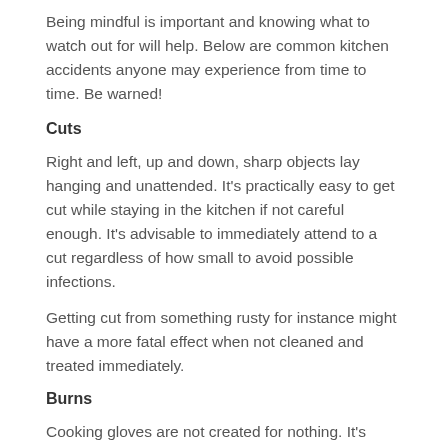Being mindful is important and knowing what to watch out for will help. Below are common kitchen accidents anyone may experience from time to time. Be warned!
Cuts
Right and left, up and down, sharp objects lay hanging and unattended. It’s practically easy to get cut while staying in the kitchen if not careful enough. It’s advisable to immediately attend to a cut regardless of how small to avoid possible infections.
Getting cut from something rusty for instance might have a more fatal effect when not cleaned and treated immediately.
Burns
Cooking gloves are not created for nothing. It’s there to protect you from burns caused by handling hot frying pans, kettle and the like. Unfortunately, a lot